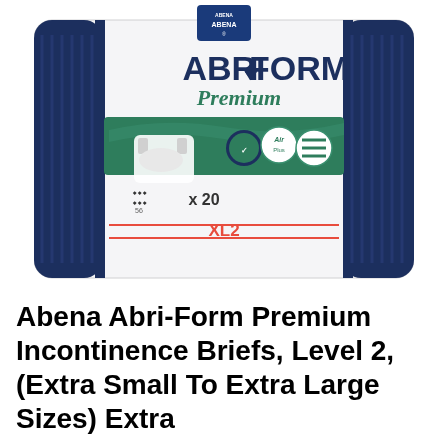[Figure (photo): Product package of Abena Abri-Form Premium Incontinence Briefs XL2. White package with dark navy blue ribbed sides, green banner across middle, showing the brief product. Text on package reads ABRI-FORM Premium, x20, XL2. ABENA logo at top in blue square.]
Abena Abri-Form Premium Incontinence Briefs, Level 2, (Extra Small To Extra Large Sizes) Extra